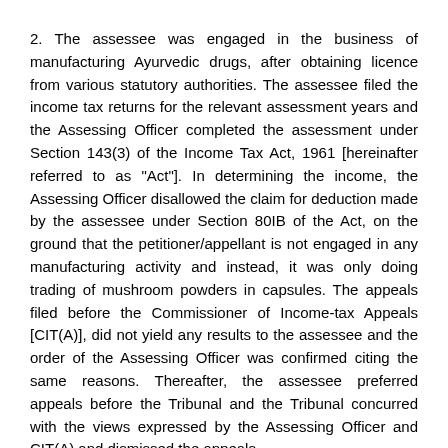2. The assessee was engaged in the business of manufacturing Ayurvedic drugs, after obtaining licence from various statutory authorities. The assessee filed the income tax returns for the relevant assessment years and the Assessing Officer completed the assessment under Section 143(3) of the Income Tax Act, 1961 [hereinafter referred to as "Act"]. In determining the income, the Assessing Officer disallowed the claim for deduction made by the assessee under Section 80IB of the Act, on the ground that the petitioner/appellant is not engaged in any manufacturing activity and instead, it was only doing trading of mushroom powders in capsules. The appeals filed before the Commissioner of Income-tax Appeals [CIT(A)], did not yield any results to the assessee and the order of the Assessing Officer was confirmed citing the same reasons. Thereafter, the assessee preferred appeals before the Tribunal and the Tribunal concurred with the views expressed by the Assessing Officer and CIT(A) and dismissed the appeals.
3. The assessee's case is that the Central Excise Department raised demands for the relevant years and the assessee had paid the central excise duty before the due date for filing of the